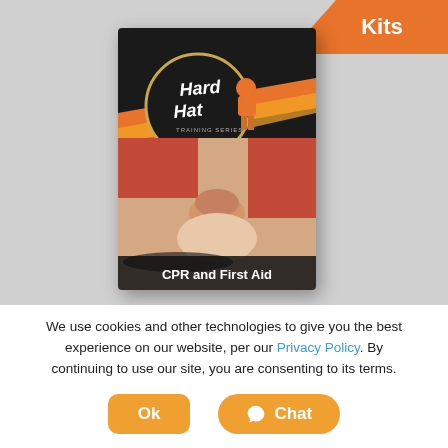[Figure (illustration): Hard Hat Training Series CPR and First Aid book cover with logo and CPR training photo]
Kits
We use cookies and other technologies to give you the best experience on our website, per our Privacy Policy. By continuing to use our site, you are consenting to its terms.